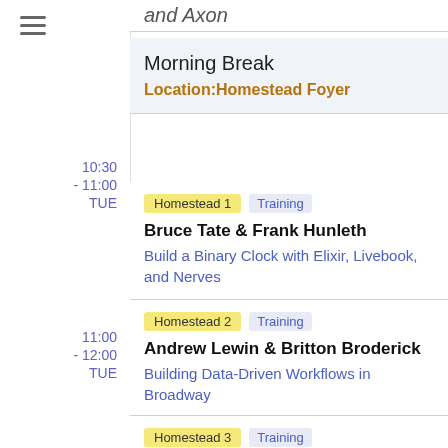and Axon
10:30 - 11:00 TUE
Morning Break
Location: Homestead Foyer
Homestead 1 | Training
Bruce Tate & Frank Hunleth
Build a Binary Clock with Elixir, Livebook, and Nerves
11:00 - 12:00 TUE
Homestead 2 | Training
Andrew Lewin & Britton Broderick
Building Data-Driven Workflows in Broadway
Homestead 3 | Training
Ethan Gunderson & Zack Kayzer
Instrumenting Elixir Applications